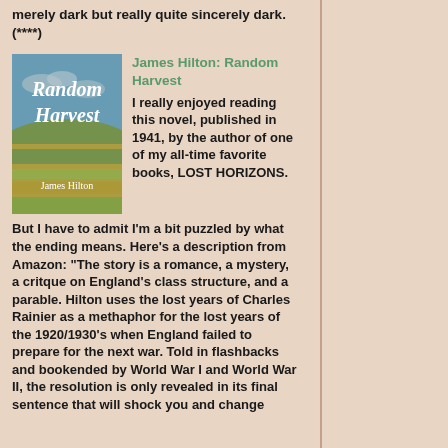merely dark but really quite sincerely dark. (****)
[Figure (illustration): Book cover of Random Harvest by James Hilton, showing pastoral English countryside with fields and blue sky, with the title in white script lettering]
James Hilton: Random Harvest
I really enjoyed reading this novel, published in 1941, by the author of one of my all-time favorite books, LOST HORIZONS. But I have to admit I'm a bit puzzled by what the ending means. Here's a description from Amazon: "The story is a romance, a mystery, a critque on England's class structure, and a parable. Hilton uses the lost years of Charles Rainier as a methaphor for the lost years of the 1920/1930's when England failed to prepare for the next war. Told in flashbacks and bookended by World War I and World War II, the resolution is only revealed in its final sentence that will shock you and change